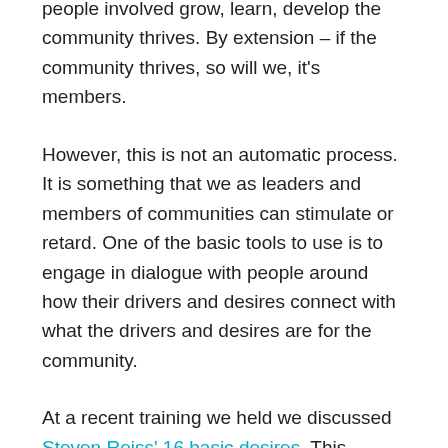people involved grow, learn, develop the community thrives. By extension – if the community thrives, so will we, it's members.
However, this is not an automatic process. It is something that we as leaders and members of communities can stimulate or retard. One of the basic tools to use is to engage in dialogue with people around how their drivers and desires connect with what the drivers and desires are for the community.
At a recent training we held we discussed Steven Reiss' 16 basic desires. This theory, based on over 6000 interviews, shows us that motivation essentially is personal. But, by understanding the drivers of our members, and connecting these personal drivers to their work in the organization we can help them see the link between a thriving community and themselves as thriving individuals. Thus, the motivation is no longer only individual – it becomes a motivation for making the